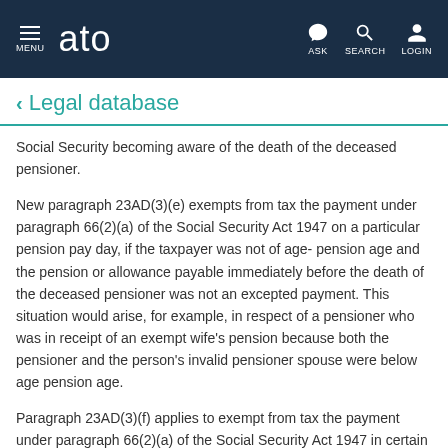ato — MENU, ASK, SEARCH, LOGIN
Legal database
Social Security becoming aware of the death of the deceased pensioner.
New paragraph 23AD(3)(e) exempts from tax the payment under paragraph 66(2)(a) of the Social Security Act 1947 on a particular pension pay day, if the taxpayer was not of age- pension age and the pension or allowance payable immediately before the death of the deceased pensioner was not an excepted payment. This situation would arise, for example, in respect of a pensioner who was in receipt of an exempt wife's pension because both the pensioner and the person's invalid pensioner spouse were below age pension age.
Paragraph 23AD(3)(f) applies to exempt from tax the payment under paragraph 66(2)(a) of the Social Security Act 1947 in certain circumstances. It applies where the pension was assessable to the